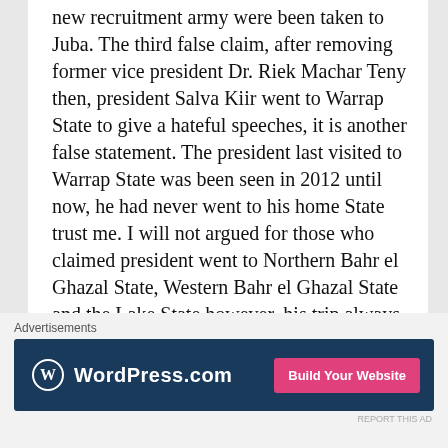new recruitment army were been taken to Juba. The third false claim, after removing former vice president Dr. Riek Machar Teny then, president Salva Kiir went to Warrap State to give a hateful speeches, it is another false statement. The president last visited to Warrap State was been seen in 2012 until now, he had never went to his home State trust me. I will not argued for those who claimed president went to Northern Bahr el Ghazal State, Western Bahr el Ghazal State and the Lake State however, his trip always directly to Western Bahr el Ghazal State most of the time and
[Figure (other): WordPress.com advertisement banner with blue background, WordPress logo, 'WordPress.com' text, and pink 'Build Your Website' button]